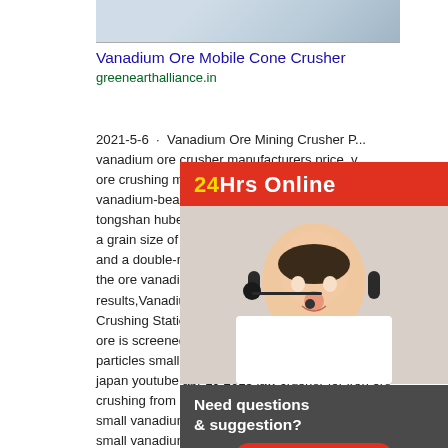[Figure (photo): Partial photo of industrial machinery or equipment, cropped at top of page]
Vanadium Ore Mobile Cone Crusher
greenearthalliance.in
2021-5-6 · Vanadium Ore Mining Crusher P... vanadium ore crusher manufacturers price. ore crushing machine for sale. crusher ugyt... vanadium-bearing stone coal was obtained f... tongshan hubei province china the ore was c... a grain size of mm by a jaw crusher model x... and a double-roll crusher model hlxps-250 1... the ore vanadium vanadium ore cone crushe... results,Vanadium Ore Mobile Cone Crusher-... Crushing Station. Vanadium Ore Cone Crus... ore is screened before entering the cone cru... particles small jaw crusher for chromite ore c... japan youtube apr 19 2015 jaw crusher for iron ore crushing from germany used small jaw 6500 for both small vanadium ore pulverizer machine 5 apr 2015 small vanadium ore
[Figure (photo): Chat widget overlay showing a woman with headset/microphone, smiling. Header reads '24Hrs Online' in red with yellow text. Footer shows 'Need questions & suggestion?' with a 'Chat Now' red button.]